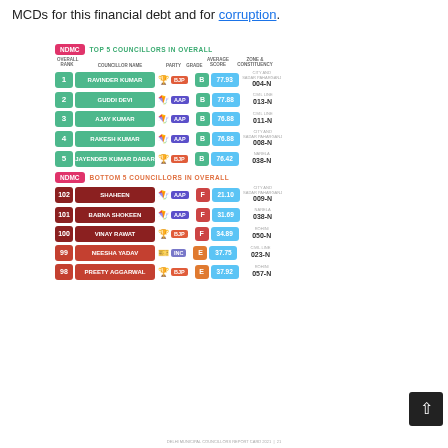MCDs for this financial debt and for corruption.
[Figure (infographic): NDMC Top 5 Councillors in Overall ranking table showing rank, councillor name, party, grade, average score, and zone & constituency. Rows: 1 Ravinder Kumar BJP B 77.93 City and Sadar Paharganj 004-N; 2 Guddi Devi AAP B 77.88 Civil Line 013-N; 3 Ajay Kumar AAP B 76.88 Civil Line 011-N; 4 Rakesh Kumar AAP B 76.88 City and Sadar Paharganj 008-N; 5 Jayender Kumar Dabar BJP B 76.42 Narela 038-N. NDMC Bottom 5 Councillors in Overall: 102 Shaheen AAP F 21.10 City and Sadar Paharganj 009-N; 101 Babna Shokeen AAP F 31.69 Narela 038-N; 100 Vinay Rawat BJP F 34.89 Rohini 050-N; 99 Neesha Yadav INC E 37.75 Civil Line 023-N; 98 Preety Aggarwal BJP E 37.92 Rohini 057-N]